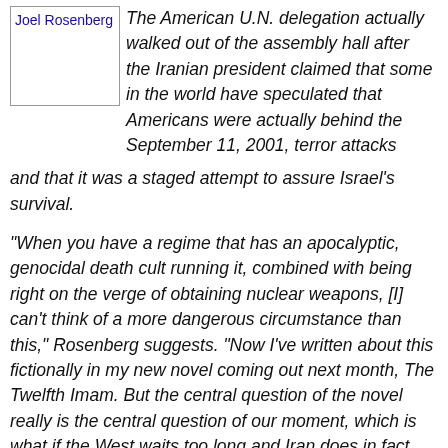[Figure (photo): Small thumbnail image of Joel Rosenberg with his name as alt text, displayed in a bordered box]
The American U.N. delegation actually walked out of the assembly hall after the Iranian president claimed that some in the world have speculated that Americans were actually behind the September 11, 2001, terror attacks and that it was a staged attempt to assure Israel's survival.
“When you have a regime that has an apocalyptic, genocidal death cult running it, combined with being right on the verge of obtaining nuclear weapons, [I] can’t think of a more dangerous circumstance than this,” Rosenberg suggests. “Now I’ve written about this fictionally in my new novel coming out next month, The Twelfth Imam. But the central question of the novel really is the central question of our moment, which is what if the West waits too long and Iran does in fact get the bomb? What happens next? What does the U.S. do? What does Israel do?”